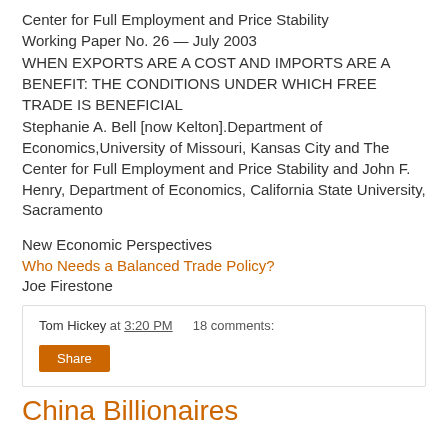Center for Full Employment and Price Stability
Working Paper No. 26 — July 2003
WHEN EXPORTS ARE A COST AND IMPORTS ARE A BENEFIT: THE CONDITIONS UNDER WHICH FREE TRADE IS BENEFICIAL
Stephanie A. Bell [now Kelton].Department of Economics,University of Missouri, Kansas City and The Center for Full Employment and Price Stability and John F. Henry, Department of Economics, California State University, Sacramento
New Economic Perspectives
Who Needs a Balanced Trade Policy?
Joe Firestone
Tom Hickey at 3:20 PM    18 comments:
Share
China Billionaires